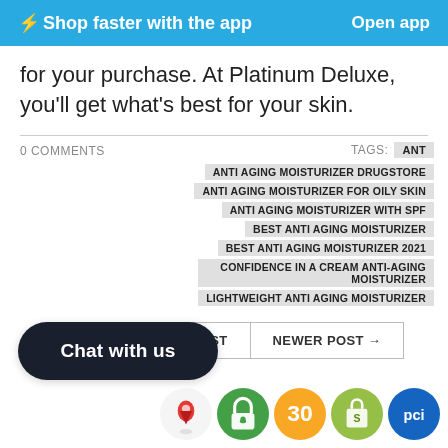⚡Shop faster with the app   Open app
for your purchase. At Platinum Deluxe, you'll get what's best for your skin.
0 COMMENTS   TAGS: ANT   ANTI AGING MOISTURIZER DRUGSTORE   ANTI AGING MOISTURIZER FOR OILY SKIN   ANTI AGING MOISTURIZER WITH SPF   BEST ANTI AGING MOISTURIZER   BEST ANTI AGING MOISTURIZER 2021   CONFIDENCE IN A CREAM ANTI-AGING MOISTURIZER   LIGHTWEIGHT ANTI AGING MOISTURIZER
← OLDER POST   NEWER POST →
Chat with us